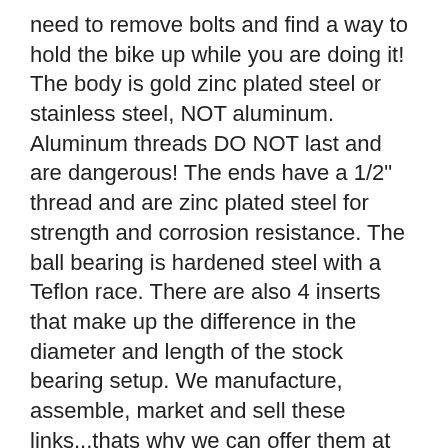need to remove bolts and find a way to hold the bike up while you are doing it! The body is gold zinc plated steel or stainless steel, NOT aluminum. Aluminum threads DO NOT last and are dangerous! The ends have a 1/2" thread and are zinc plated steel for strength and corrosion resistance. The ball bearing is hardened steel with a Teflon race. There are also 4 inserts that make up the difference in the diameter and length of the stock bearing setup. We manufacture, assemble, market and sell these links...thats why we can offer them at such a great price.
THIS IS A DIRECT BOLT-ON ITEM!
Keep in mind that motorcycles lowered 1 inch or more should utilize our adjustable kickstand to maintain the required lean angle when parked. See the Motorcycle Kickstand...